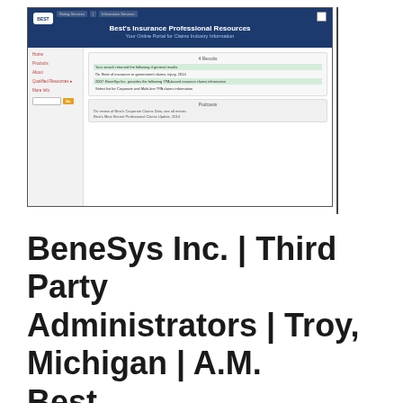[Figure (screenshot): Screenshot of Best's Insurance Professional Resources website showing search results for BeneSys Inc. Third Party Administrators, Troy, Michigan on A.M. Best's claims resource portal.]
BeneSys Inc. | Third Party Administrators | Troy, Michigan | A.M. Best ...
http://claimsresource.ambest.com/search/CompanyDisplay.a dpid=34933...
Best's Third Party Administrators - BeneSys Inc. Best's Insurance Professionals and Claims Resource. Your Online Portal for Claims Industry Information